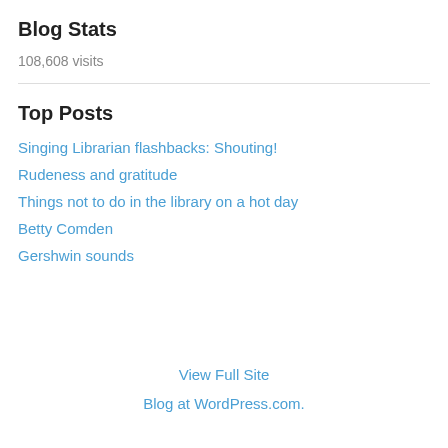Blog Stats
108,608 visits
Top Posts
Singing Librarian flashbacks: Shouting!
Rudeness and gratitude
Things not to do in the library on a hot day
Betty Comden
Gershwin sounds
View Full Site
Blog at WordPress.com.